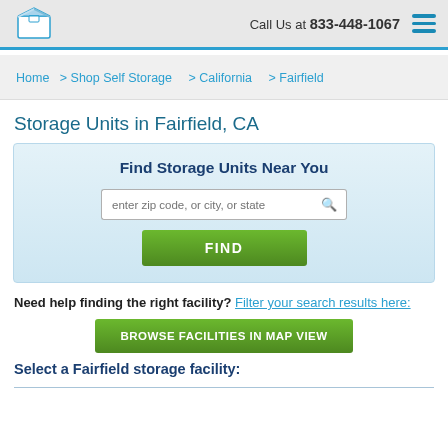Call Us at 833-448-1067
Home > Shop Self Storage > California > Fairfield
Storage Units in Fairfield, CA
[Figure (other): Search widget with title 'Find Storage Units Near You', a zip code search input, and a green FIND button]
Need help finding the right facility? Filter your search results here:
BROWSE FACILITIES IN MAP VIEW
Select a Fairfield storage facility: